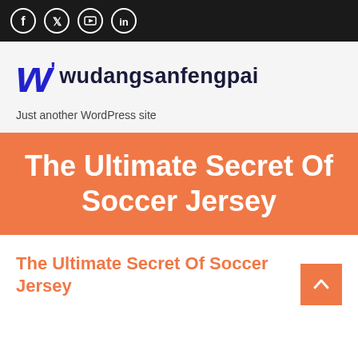Social media icons: Facebook, Twitter, YouTube, LinkedIn
[Figure (logo): Wudangsanfengpai logo with stylized blue W and site name in dark bold text]
Just another WordPress site
The Ultimate Secret Of Soccer Jersey
The Ultimate Secret Of Soccer Jersey